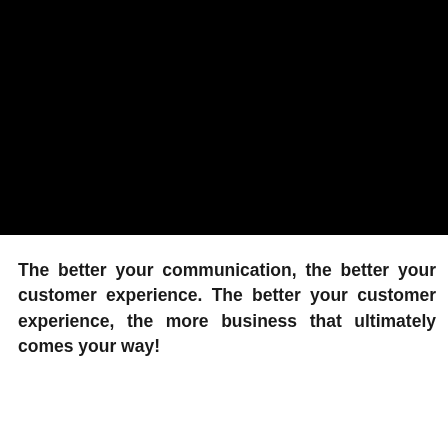[Figure (photo): Large black rectangle occupying the top portion of the page, representing a dark/black image area.]
The better your communication, the better your customer experience. The better your customer experience, the more business that ultimately comes your way!